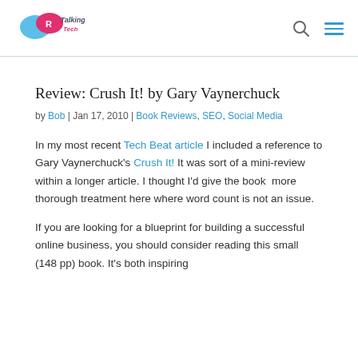Talking Tech logo, search icon, menu icon
Review: Crush It! by Gary Vaynerchuck
by Bob | Jan 17, 2010 | Book Reviews, SEO, Social Media
In my most recent Tech Beat article I included a reference to Gary Vaynerchuck's Crush It! It was sort of a mini-review within a longer article. I thought I'd give the book more thorough treatment here where word count is not an issue.
If you are looking for a blueprint for building a successful online business, you should consider reading this small (148 pp) book. It's both inspiring